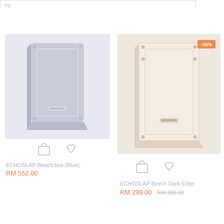[Figure (screenshot): Top navigation bar with orange highlight and search box]
[Figure (photo): ECHOSLAP Beach box (Blue) cajon drum product image with shopping bag and heart icons]
ECHOSLAP Beach box (Blue)
RM 552.00
[Figure (photo): ECHOSLAP Beech Dark Edge cajon drum product image with -25% discount badge, shopping bag and heart icons]
ECHOSLAP Beech Dark Edge
RM 299.00  RM 399.00